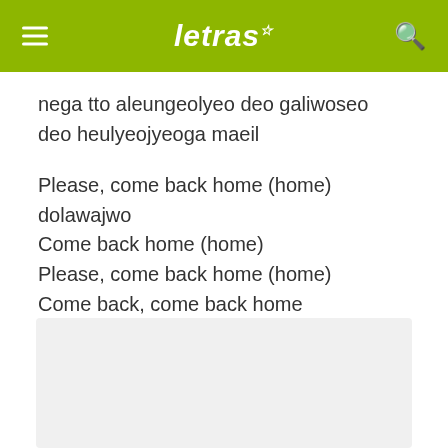letras
nega tto aleungeolyeo deo galiwoseo
deo heulyeojyeoga maeil
Please, come back home (home)
dolawajwo
Come back home (home)
Please, come back home (home)
Come back, come back home
[Figure (other): Gray advertisement placeholder box]